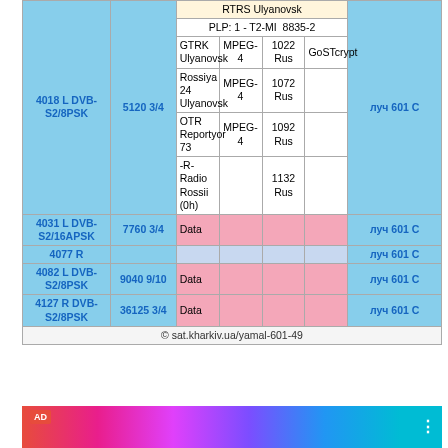| Freq/Pol/FEC | SR | Channel | Video | SID | Encryption | Beam |
| --- | --- | --- | --- | --- | --- | --- |
|  |  | RTRS Ulyanovsk |  |  |  |  |
|  |  | PLP: 1 - T2-MI  8835-2 |  |  |  |  |
| 4018 L DVB-S2/8PSK | 5120 3/4 | GTRK Ulyanovsk | MPEG-4 | 1022 Rus | GoSTcrypt | луч 601 C |
|  |  | Rossiya 24 Ulyanovsk | MPEG-4 | 1072 Rus |  |  |
|  |  | OTR Reportyor 73 | MPEG-4 | 1092 Rus |  |  |
|  |  | -R- Radio Rossii (0h) |  | 1132 Rus |  |  |
| 4031 L DVB-S2/16APSK | 7760 3/4 | Data |  |  |  | луч 601 C |
| 4077 R |  |  |  |  |  | луч 601 C |
| 4082 L DVB-S2/8PSK | 9040 9/10 | Data |  |  |  | луч 601 C |
| 4127 R DVB-S2/8PSK | 36125 3/4 | Data |  |  |  | луч 601 C |
| © sat.kharkiv.ua/yamal-601-49 |  |  |  |  |  |  |
[Figure (photo): Advertisement banner with colorful background and AD label]